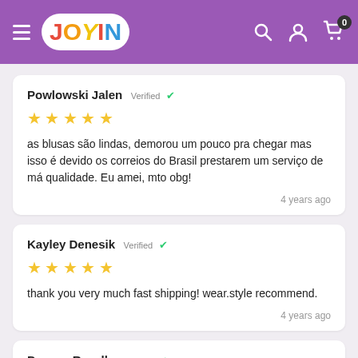Joyin — navigation header with logo, search, account, and cart icons
Powlowski Jalen Verified ✓
★★★★★
as blusas são lindas, demorou um pouco pra chegar mas isso é devido os correios do Brasil prestarem um serviço de má qualidade. Eu amei, mto obg!
4 years ago
Kayley Denesik Verified ✓
★★★★★
thank you very much fast shipping! wear.style recommend.
4 years ago
Durgan Rozella Verified ✓